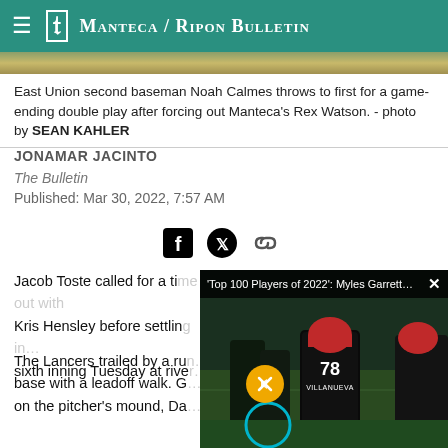Manteca / Ripon Bulletin
[Figure (photo): Partial view of a baseball field from above, showing green turf.]
East Union second baseman Noah Calmes throws to first for a game-ending double play after forcing out Manteca's Rex Watson. - photo by SEAN KAHLER
JONAMAR JACINTO
The Bulletin
Published: Mar 30, 2022, 7:57 AM
[Figure (illustration): Social sharing icons: Facebook, Twitter, and link/chain icon]
Jacob Toste called for a ti... Kris Hensley before settling... sixth inning Tuesday at rive...
The Lancers trailed by a ru... base with a leadoff walk. G... on the pitcher's mound, Da...
[Figure (screenshot): Video overlay popup showing football players from 'Top 100 Players of 2022': Myles Garrett... with a mute button and close X button. Player #78 VILLANUEVA visible.]